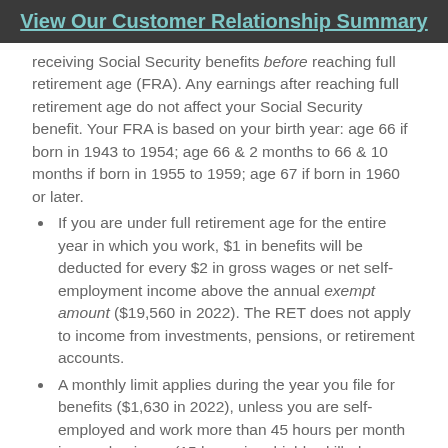View Our Customer Relationship Summary
receiving Social Security benefits before reaching full retirement age (FRA). Any earnings after reaching full retirement age do not affect your Social Security benefit. Your FRA is based on your birth year: age 66 if born in 1943 to 1954; age 66 & 2 months to 66 & 10 months if born in 1955 to 1959; age 67 if born in 1960 or later.
If you are under full retirement age for the entire year in which you work, $1 in benefits will be deducted for every $2 in gross wages or net self-employment income above the annual exempt amount ($19,560 in 2022). The RET does not apply to income from investments, pensions, or retirement accounts.
A monthly limit applies during the year you file for benefits ($1,630 in 2022), unless you are self-employed and work more than 45 hours per month in your business (15 hours in a highly skilled business). For example, if you file for benefits starting in July, you could earn more than the annual limit from January to June and still receive full benefits if you do not earn more than the monthly limit from July through December.